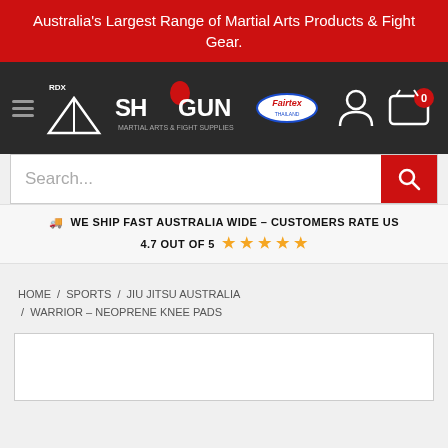Australia's Largest Range of Martial Arts Products & Fight Gear.
[Figure (logo): Shogun Fight Gear navigation bar with RDX logo, Shogun logo with samurai, Fairtex logo, user icon, and cart icon showing 0 items]
Search...
🚚 WE SHIP FAST AUSTRALIA WIDE – CUSTOMERS RATE US 4.7 OUT OF 5 ★ ★ ★ ★ ★
HOME / SPORTS / JIU JITSU AUSTRALIA / WARRIOR – NEOPRENE KNEE PADS